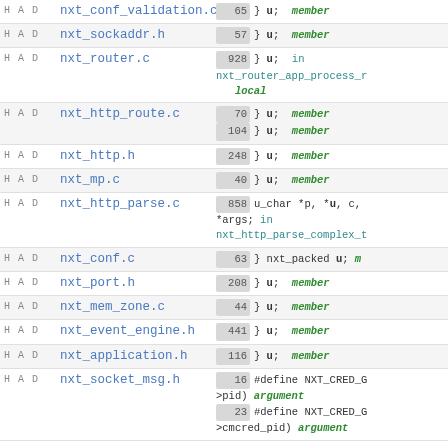|  | File | Code |
| --- | --- | --- |
| HAD | nxt_conf_validation.c | 65 } u; member |
| HAD | nxt_sockaddr.h | 57 } u; member |
| HAD | nxt_router.c | 928 } u; in nxt_router_app_process_r... local |
| HAD | nxt_http_route.c | 70 } u; member / 104 } u; member |
| HAD | nxt_http.h | 248 } u; member |
| HAD | nxt_mp.c | 40 } u; member |
| HAD | nxt_http_parse.c | 858 u_char *p, *u, c, *args; in nxt_http_parse_complex_t... |
| HAD | nxt_conf.c | 63 } nxt_packed u; m... |
| HAD | nxt_port.h | 208 } u; member |
| HAD | nxt_mem_zone.c | 44 } u; member |
| HAD | nxt_event_engine.h | 441 } u; member |
| HAD | nxt_application.h | 116 } u; member |
| HAD | nxt_socket_msg.h | 16 #define NXT_CRED_G... >pid) argument / 23 #define NXT_CRED_G... >cmcred_pid) argument |